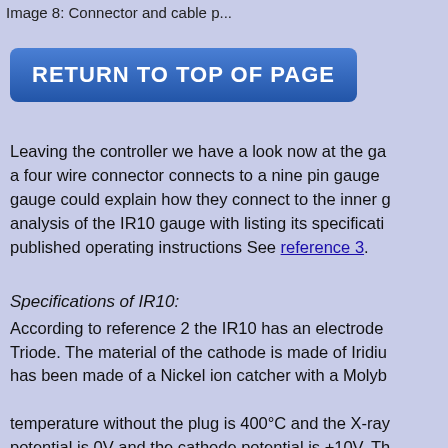Image 8: Connector and cable p...
RETURN TO TOP OF PAGE
Leaving the controller we have a look now at the ga... a four wire connector connects to a nine pin gauge ... gauge could explain how they connect to the inner g... analysis of the IR10 gauge with listing its specificati... published operating instructions See reference 3.
Specifications of IR10:
According to reference 2 the IR10 has an electrode... Triode. The material of the cathode is made of Iridiu... has been made of a Nickel ion catcher with a Molyb... temperature without the plug is 400°C and the X-ray... potential is 0V and the cathode potential is +10V. Th... emission current is 0.016 mA. The cathode heater c... voltage is 2V. The maximum power dissipation duri...